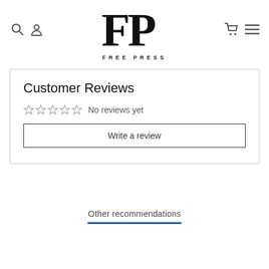FREE PRESS — logo header with navigation icons
Customer Reviews
☆☆☆☆☆ No reviews yet
Write a review
Other recommendations